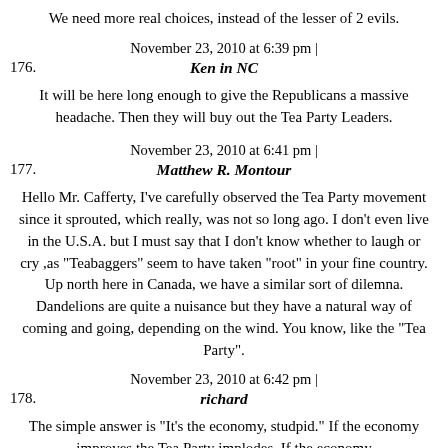We need more real choices, instead of the lesser of 2 evils.
November 23, 2010 at 6:39 pm |
176.  Ken in NC
It will be here long enough to give the Republicans a massive headache. Then they will buy out the Tea Party Leaders.
November 23, 2010 at 6:41 pm |
177.  Matthew R. Montour
Hello Mr. Cafferty, I've carefully observed the Tea Party movement since it sprouted, which really, was not so long ago. I don't even live in the U.S.A. but I must say that I don't know whether to laugh or cry ,as "Teabaggers" seem to have taken "root" in your fine country. Up north here in Canada, we have a similar sort of dilemna. Dandelions are quite a nuisance but they have a natural way of coming and going, depending on the wind. You know, like the "Tea Party".
November 23, 2010 at 6:42 pm |
178.  richard
The simple answer is "It's the economy, studpid." If the economy improves the Tea Party implodes. If the economy